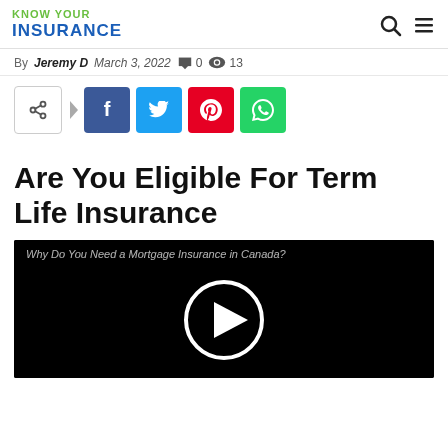KNOW YOUR INSURANCE
By Jeremy D   March 3, 2022   0   13
[Figure (other): Social share buttons: share, Facebook, Twitter, Pinterest, WhatsApp]
Are You Eligible For Term Life Insurance
[Figure (screenshot): Video thumbnail with title 'Why Do You Need a Mortgage Insurance in Canada?' and a play button on black background]